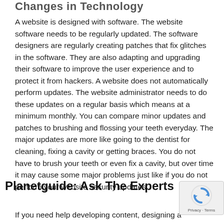Changes in Technology
A website is designed with software. The website software needs to be regularly updated. The software designers are regularly creating patches that fix glitches in the software. They are also adapting and upgrading their software to improve the user experience and to protect it from hackers. A website does not automatically perform updates. The website administrator needs to do these updates on a regular basis which means at a minimum monthly. You can compare minor updates and patches to brushing and flossing your teeth everyday. The major updates are more like going to the dentist for cleaning, fixing a cavity or getting braces. You do not have to brush your teeth or even fix a cavity, but over time it may cause some major problems just like if you do not perform your website security updates.
Planetguide: Ask The Experts
If you need help developing content, designing a